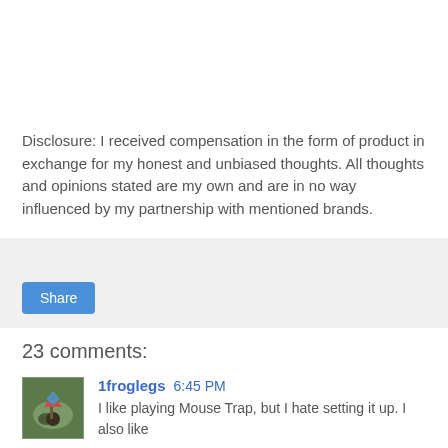Disclosure: I received compensation in the form of product in exchange for my honest and unbiased thoughts. All thoughts and opinions stated are my own and are in no way influenced by my partnership with mentioned brands.
[Figure (other): Share button widget area with light gray background and a blue Share button]
23 comments:
[Figure (photo): Avatar photo of commenter 1froglegs showing a person on horseback with flags]
1froglegs  6:45 PM
I like playing Mouse Trap, but I hate setting it up. I also like